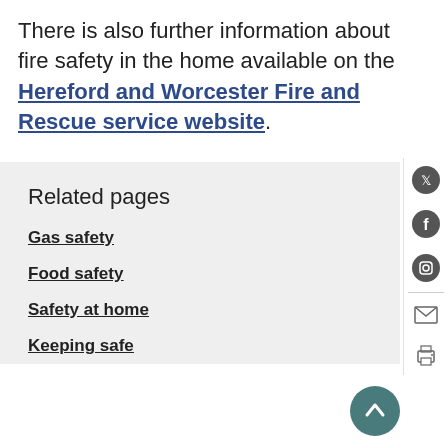There is also further information about fire safety in the home available on the Hereford and Worcester Fire and Rescue service website.
Related pages
Gas safety
Food safety
Safety at home
Keeping safe